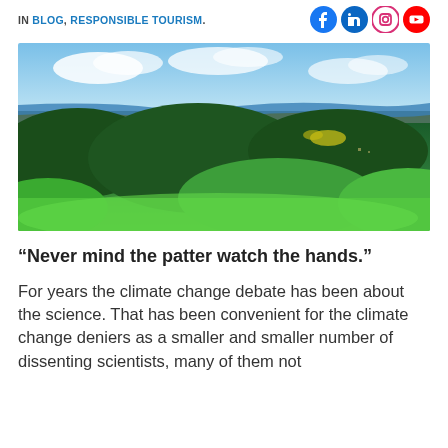IN BLOG, RESPONSIBLE TOURISM.
[Figure (photo): Aerial view of a lush green landscape with forests, fields, a river winding through, and a partly cloudy blue sky]
“Never mind the patter watch the hands.”
For years the climate change debate has been about the science. That has been convenient for the climate change deniers as a smaller and smaller number of dissenting scientists, many of them not